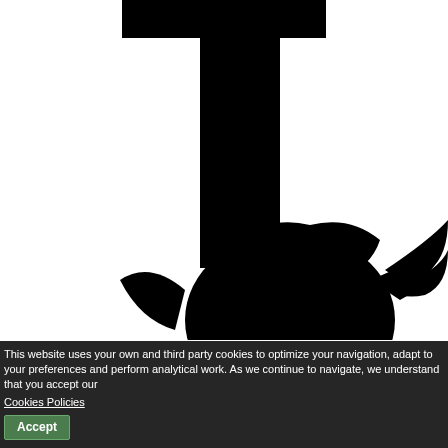[Figure (logo): Twitter bird logo in black silhouette, partially cropped — showing the large letter T shape (crossbar) at top and the Twitter bird icon at bottom, both in solid black on white background]
This website uses your own and third party cookies to optimize your navigation, adapt to your preferences and perform analytical work. As we continue to navigate, we understand that you accept our
Cookies Policies
Accept